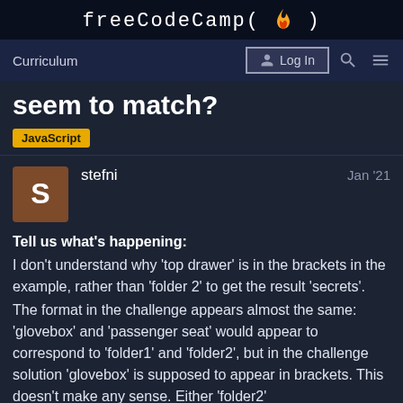freeCodeCamp(🔥)
Curriculum  Log In
seem to match?
JavaScript
stefni  Jan '21
Tell us what's happening:
I don't understand why 'top drawer' is in the brackets in the example, rather than 'folder 2' to get the result 'secrets'.
The format in the challenge appears almost the same: 'glovebox' and 'passenger seat' would appear to correspond to 'folder1' and 'folder2', but in the challenge solution 'glovebox' is supposed to appear in brackets. This doesn't make any sense. Either 'folder2'